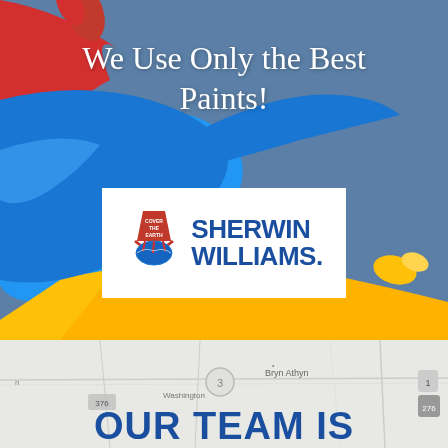[Figure (illustration): Paint splash background with red, blue, and yellow paint splashes on a steel blue background. Contains text overlay and Sherwin-Williams logo in a white box.]
We Use Only the Best Paints!
[Figure (logo): Sherwin-Williams logo with 'Cover the Earth' icon and SHERWIN WILLIAMS. text in blue on white background]
[Figure (map): Background map showing Washington and Bryn Athyn area]
OUR TEAM IS